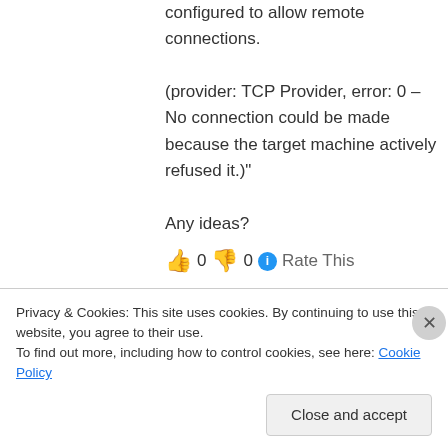configured to allow remote connections.

(provider: TCP Provider, error: 0 – No connection could be made because the target machine actively refused it.)"

Any ideas?
👍 0 👎 0 ℹ Rate This
↪ Reply
Martin9700 on February 4, 2016 at 10:41 am
Privacy & Cookies: This site uses cookies. By continuing to use this website, you agree to their use.
To find out more, including how to control cookies, see here: Cookie Policy
Close and accept